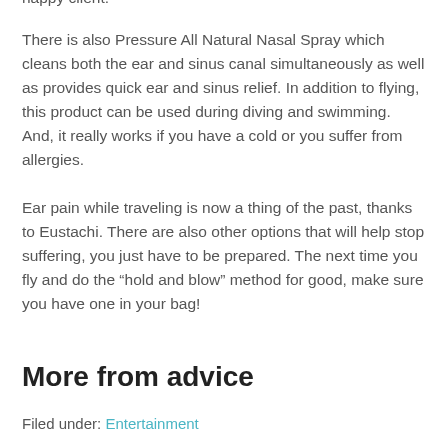happy client.
There is also Pressure All Natural Nasal Spray which cleans both the ear and sinus canal simultaneously as well as provides quick ear and sinus relief. In addition to flying, this product can be used during diving and swimming. And, it really works if you have a cold or you suffer from allergies.
Ear pain while traveling is now a thing of the past, thanks to Eustachi. There are also other options that will help stop suffering, you just have to be prepared. The next time you fly and do the “hold and blow” method for good, make sure you have one in your bag!
More from advice
Filed under: Entertainment